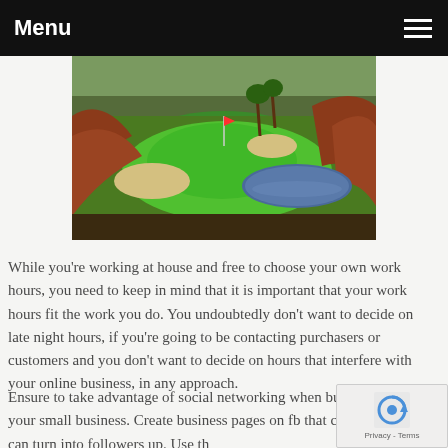Menu
[Figure (photo): Aerial view of a golf course with green fairway, sand bunkers, water hazard, and surrounding red/brown terrain with palm trees]
While you're working at house and free to choose your own work hours, you need to keep in mind that it is important that your work hours fit the work you do. You undoubtedly don't want to decide on late night hours, if you're going to be contacting purchasers or customers and you don't want to decide on hours that interfere with your online business, in any approach.
Ensure to take advantage of social networking when building your small business. Create business pages on fb that customers can turn into followers up. Use th... to maintain individual contact to...